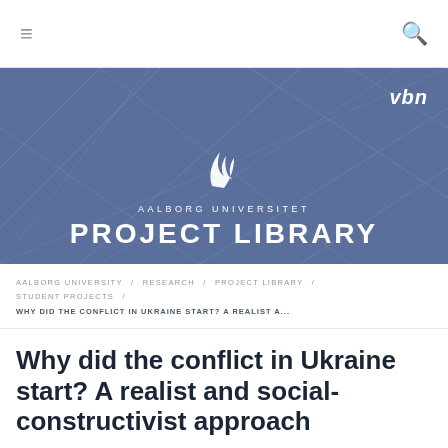≡  🔍
[Figure (logo): Aalborg Universitet (AAU) logo with flame/wave symbol above text AALBORG UNIVERSITET and PROJECT LIBRARY on blue geometric background, with VBN logo top right]
AALBORG UNIVERSITY / RESEARCH / PROJECT LIBRARY / STUDENT PROJECTS / WHY DID THE CONFLICT IN UKRAINE START? A REALIST A...
Why did the conflict in Ukraine start? A realist and social-constructivist approach